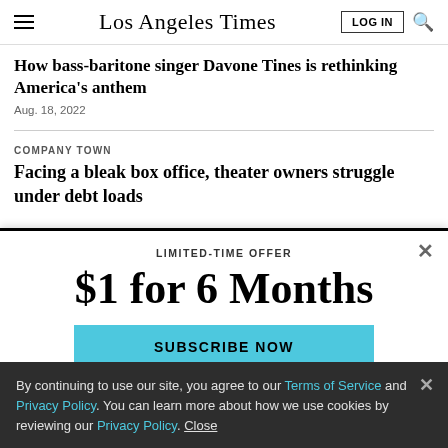Los Angeles Times
How bass-baritone singer Davone Tines is rethinking America's anthem
Aug. 18, 2022
COMPANY TOWN
Facing a bleak box office, theater owners struggle under debt loads
LIMITED-TIME OFFER
$1 for 6 Months
SUBSCRIBE NOW
By continuing to use our site, you agree to our Terms of Service and Privacy Policy. You can learn more about how we use cookies by reviewing our Privacy Policy. Close